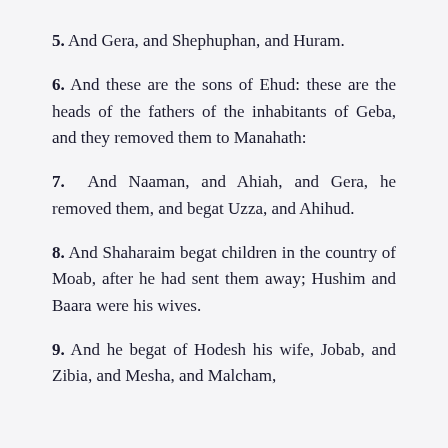5. And Gera, and Shephuphan, and Huram.
6. And these are the sons of Ehud: these are the heads of the fathers of the inhabitants of Geba, and they removed them to Manahath:
7. And Naaman, and Ahiah, and Gera, he removed them, and begat Uzza, and Ahihud.
8. And Shaharaim begat children in the country of Moab, after he had sent them away; Hushim and Baara were his wives.
9. And he begat of Hodesh his wife, Jobab, and Zibia, and Mesha, and Malcham,